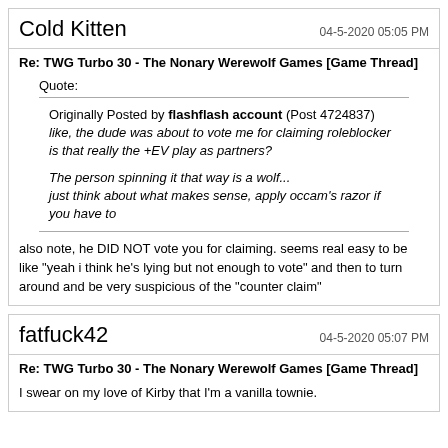Cold Kitten
04-5-2020 05:05 PM
Re: TWG Turbo 30 - The Nonary Werewolf Games [Game Thread]
Quote:
Originally Posted by flashflash account (Post 4724837)
like, the dude was about to vote me for claiming roleblocker
is that really the +EV play as partners?

The person spinning it that way is a wolf...
just think about what makes sense, apply occam's razor if you have to
also note, he DID NOT vote you for claiming. seems real easy to be like "yeah i think he's lying but not enough to vote" and then to turn around and be very suspicious of the "counter claim"
fatfuck42
04-5-2020 05:07 PM
Re: TWG Turbo 30 - The Nonary Werewolf Games [Game Thread]
I swear on my love of Kirby that I'm a vanilla townie.